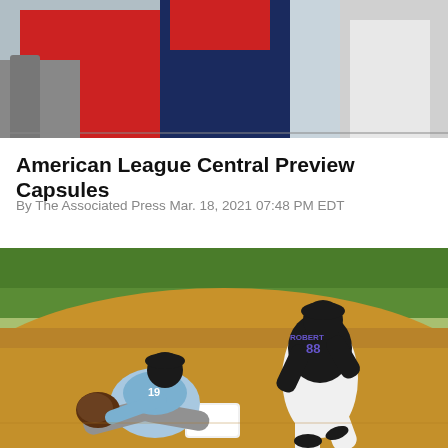[Figure (photo): Partial photo at top of page showing baseball players, one in red and navy uniform holding a bat, one in white uniform visible at right edge]
American League Central Preview Capsules
By The Associated Press Mar. 18, 2021 07:48 PM EDT
[Figure (photo): Baseball action photo showing Chicago White Sox player #88 Robert running to first base while a Tampa Bay Rays first baseman #19 stretches to catch a throw, taken at a spring training game with green outfield grass and red clay dirt visible]